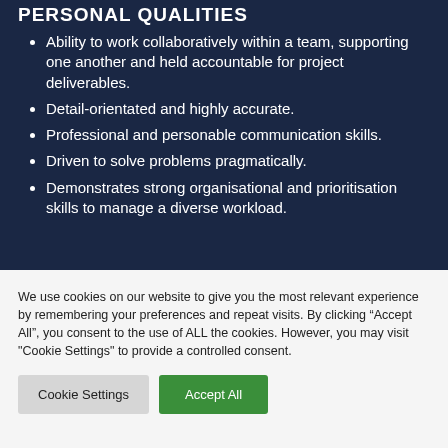PERSONAL QUALITIES
Ability to work collaboratively within a team, supporting one another and held accountable for project deliverables.
Detail-orientated and highly accurate.
Professional and personable communication skills.
Driven to solve problems pragmatically.
Demonstrates strong organisational and prioritisation skills to manage a diverse workload.
We use cookies on our website to give you the most relevant experience by remembering your preferences and repeat visits. By clicking “Accept All”, you consent to the use of ALL the cookies. However, you may visit "Cookie Settings" to provide a controlled consent.